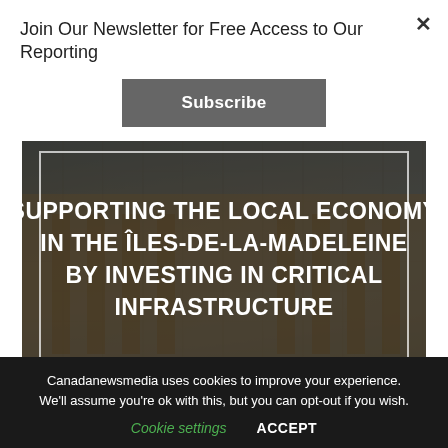Join Our Newsletter for Free Access to Our Reporting
Subscribe
[Figure (photo): Government building (Parliament/City Hall style) facade with arched windows and stone architecture, dark atmospheric overlay. Text overlay reads: SUPPORTING THE LOCAL ECONOMY IN THE ÎLES-DE-LA-MADELEINE BY INVESTING IN CRITICAL INFRASTRUCTURE]
The Îles-de-la-Madeleine are an iconic region of great
Canadanewsmedia uses cookies to improve your experience. We'll assume you're ok with this, but you can opt-out if you wish.
Cookie settings
ACCEPT